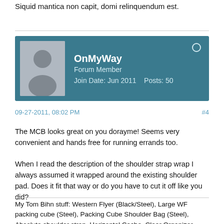Siquid mantica non capit, domi relinquendum est.
OnMyWay
Forum Member
Join Date: Jun 2011    Posts: 50
09-27-2011, 08:02 PM
#4
The MCB looks great on you dorayme! Seems very convenient and hands free for running errands too.

When I read the description of the shoulder strap wrap I always assumed it wrapped around the existing shoulder pad. Does it fit that way or do you have to cut it off like you did?
My Tom Bihn stuff: Western Flyer (Black/Steel), Large WF packing cube (Steel), Packing Cube Shoulder Bag (Steel), Absolute shoulder strap, Horizontal Cache, Clear Organizer Wallet (Plum), Small Dyneema pouch (UV), Ballistic Nylon Pen/Pencil Pouch (Steel), FOJ Pouch (Navy), Clear Quarter Packing Cube (UV), Small Yarn Stuff Sack (UV), and the Super Secret Mystery Gift!